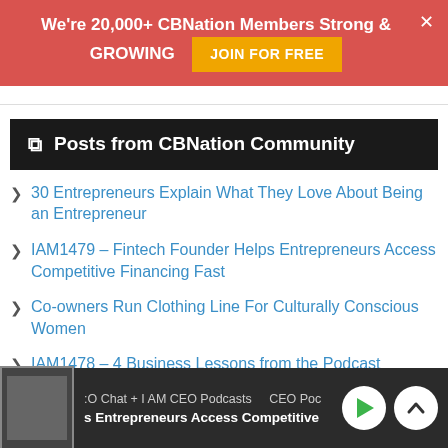We're 20,000+ CBNation Members Strong & GROWING  JOIN FOR FREE
Posts from CBNation Community
30 Entrepreneurs Explain What They Love About Being an Entrepreneur
IAM1479 – Fintech Founder Helps Entrepreneurs Access Competitive Financing Fast
Co-owners Run Clothing Line For Culturally Conscious Women
IAM1478 – 4 Business Lessons from the Podcast
Elopement Photographer Encourages People to be their Authentic Self
CEO Chat + I AM CEO Podcasts   CEO Poc   s Entrepreneurs Access Competitive